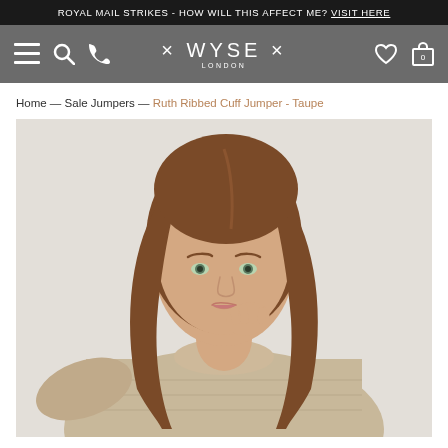ROYAL MAIL STRIKES - HOW WILL THIS AFFECT ME? VISIT HERE
[Figure (screenshot): Navigation bar with hamburger menu, search, phone icons on left; WYSE LONDON logo in center; heart and bag icons on right. Grey background.]
Home — Sale Jumpers — Ruth Ribbed Cuff Jumper - Taupe
[Figure (photo): Woman with long brown hair wearing a taupe ribbed cuff jumper, looking at camera with hand raised to chin, against a light background.]